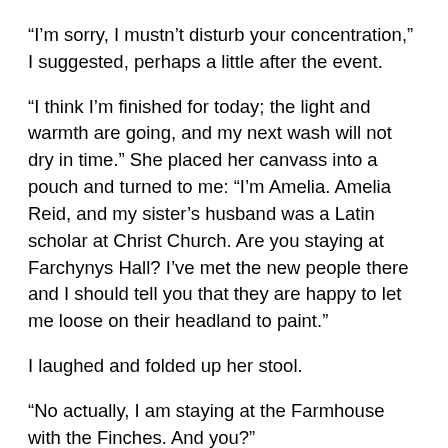“I’m sorry, I mustn’t disturb your concentration,” I suggested, perhaps a little after the event.
“I think I’m finished for today; the light and warmth are going, and my next wash will not dry in time.” She placed her canvass into a pouch and turned to me: “I’m Amelia. Amelia Reid, and my sister’s husband was a Latin scholar at Christ Church. Are you staying at Farchynys Hall? I’ve met the new people there and I should tell you that they are happy to let me loose on their headland to paint.”
I laughed and folded up her stool.
“No actually, I am staying at the Farmhouse with the Finches. And you?”
“Across the way at Plas Caerdeon. With my sister and brother-in-law. My brother-in-law has been working at St...